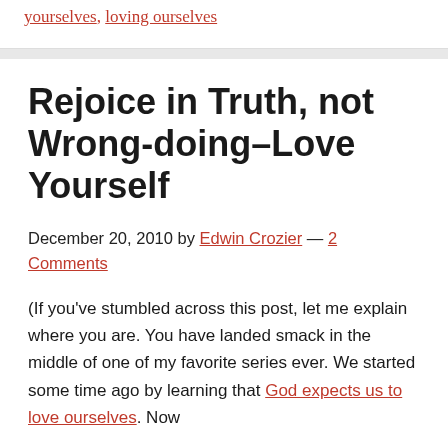yourselves, loving ourselves
Rejoice in Truth, not Wrong-doing–Love Yourself
December 20, 2010 by Edwin Crozier — 2 Comments
(If you've stumbled across this post, let me explain where you are. You have landed smack in the middle of one of my favorite series ever. We started some time ago by learning that God expects us to love ourselves. Now